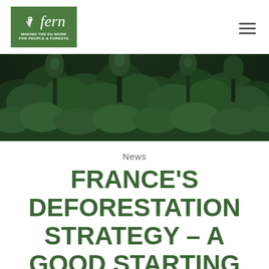fern — MAKING THE EU WORK FOR PEOPLE & FORESTS
[Figure (photo): Aerial/wide-angle photo of a dense green forest canopy with tall trees against a dark sky]
News
FRANCE'S DEFORESTATION STRATEGY – A GOOD STARTING POINT